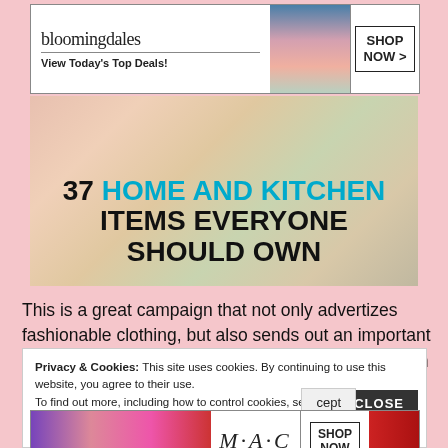[Figure (screenshot): Bloomingdales advertisement banner: logo, 'View Today's Top Deals!' tagline, fashion model image, 'SHOP NOW >' button]
[Figure (photo): Article header image: woman in kitchen apron with text '37 HOME AND KITCHEN ITEMS EVERYONE SHOULD OWN' overlaid]
This is a great campaign that not only advertizes fashionable clothing, but also sends out an important message to young girls that there is a place for them in industries like fashion. Being body positive should be a two way street: women embracing who they are, and companies and brands understanding the needs of women
Privacy & Cookies: This site uses cookies. By continuing to use this website, you agree to their use.
To find out more, including how to control cookies, see here: Cookie Policy
[Figure (screenshot): MAC cosmetics advertisement banner: lipsticks in purple/pink/red, MAC logo, 'SHOP NOW' button]